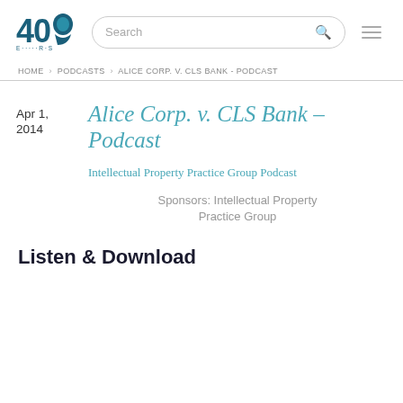[Figure (logo): 40 logo with stylized head silhouette in teal/navy, with tagline text below]
HOME > PODCASTS > ALICE CORP. V. CLS BANK - PODCAST
Apr 1, 2014
Alice Corp. v. CLS Bank – Podcast
Intellectual Property Practice Group Podcast
Sponsors: Intellectual Property Practice Group
Listen & Download